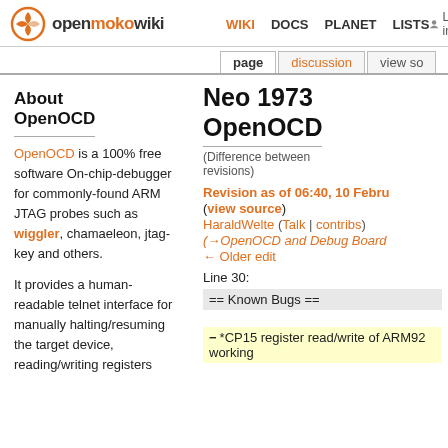openmokowiki  WIKI  DOCS  PLANET  LISTS  Log in
page  discussion  view source
Neo 1973 OpenOCD
(Difference between revisions)
About OpenOCD
OpenOCD is a 100% free software On-chip-debugger for commonly-found ARM JTAG probes such as wiggler, chamaeleon, jtag-key and others.
It provides a human-readable telnet interface for manually halting/resuming the target device, reading/writing registers
Revision as of 06:40, 10 February (view source)
HaraldWelte (Talk | contribs)
(→OpenOCD and Debug Board)
← Older edit
Line 30:
| == Known Bugs == |
|  |
| *CP15 register read/write of ARM92... working |
|  |